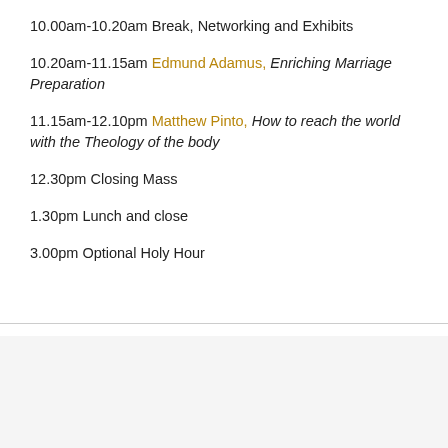10.00am-10.20am Break, Networking and Exhibits
10.20am-11.15am Edmund Adamus, Enriching Marriage Preparation
11.15am-12.10pm Matthew Pinto, How to reach the world with the Theology of the body
12.30pm Closing Mass
1.30pm Lunch and close
3.00pm Optional Holy Hour
[Figure (screenshot): Video widget panel at bottom showing 'London 2011' title with thumbnail images and close button on dark background]